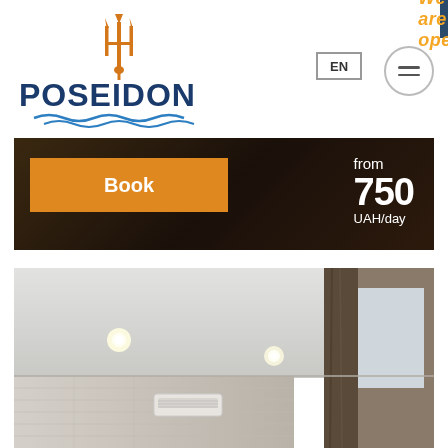We are open!
[Figure (logo): Poseidon hotel logo with trident icon and wave underline]
EN
[Figure (other): Hamburger menu icon (three horizontal lines) in a circle]
[Figure (other): Hotel booking banner with dark background. Book button in orange, price from 750 UAH/day]
[Figure (photo): Interior hotel room photo showing white ceiling with recessed lighting, tiled walls, air conditioning unit, curtains and window]